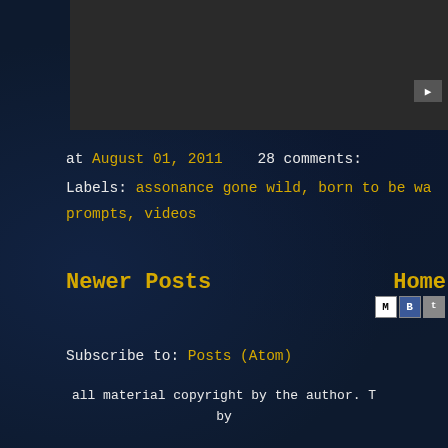[Figure (screenshot): Dark gray video/media bar at top of page with a play button icon in the top-right corner]
at August 01, 2011   28 comments:
Labels: assonance gone wild, born to be wa... prompts, videos
Newer Posts        Home
Subscribe to: Posts (Atom)
all material copyright by the author. T... by